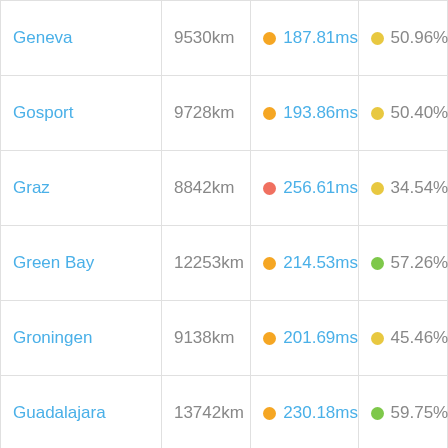| City | Distance | Latency | Percentage |
| --- | --- | --- | --- |
| Geneva | 9530km | 187.81ms | 50.96% |
| Gosport | 9728km | 193.86ms | 50.40% |
| Graz | 8842km | 256.61ms | 34.54% |
| Green Bay | 12253km | 214.53ms | 57.26% |
| Groningen | 9138km | 201.69ms | 45.46% |
| Guadalajara | 13742km | 230.18ms | 59.75% |